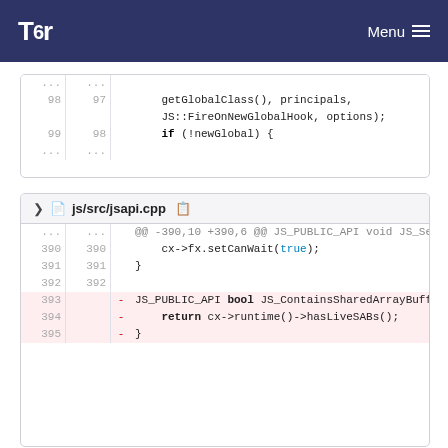Tor Menu
[Figure (screenshot): Code diff block 1: lines 98-99 and ellipsis showing getGlobalClass(), principals, JS::FireOnNewGlobalHook, options); if (!newGlobal) {]
[Figure (screenshot): Code diff block 2 for js/src/jsapi.cpp: lines 390-395 showing cx->fx.setCanWait(true); }, and deleted lines JS_PUBLIC_API bool JS_ContainsSharedArrayBuffer(JSContext* cx) { return cx->runtime()->hasLiveSABs(); }]